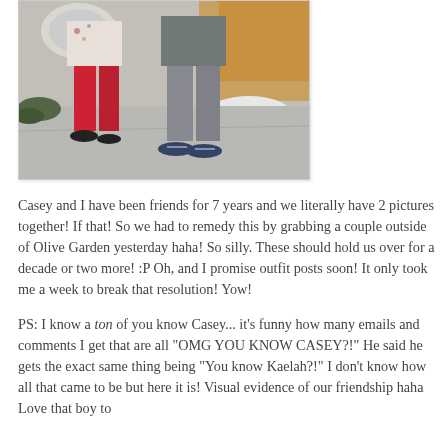[Figure (photo): Photo of two people standing outdoors, cropped to show lower half of bodies. One person wearing red tights/leggings and dark shoes, carrying a light-colored bag. Other person wearing gray jeans and navy boat shoes. Sidewalk with snow and autumn leaves visible in background.]
Casey and I have been friends for 7 years and we literally have 2 pictures together! If that! So we had to remedy this by grabbing a couple outside of Olive Garden yesterday haha! So silly. These should hold us over for a decade or two more! :P Oh, and I promise outfit posts soon! It only took me a week to break that resolution! Yow!
PS: I know a ton of you know Casey... it's funny how many emails and comments I get that are all "OMG YOU KNOW CASEY?!" He said he gets the exact same thing being "You know Kaelah?!" I don't know how all that came to be but here it is! Visual evidence of our friendship haha Love that boy to